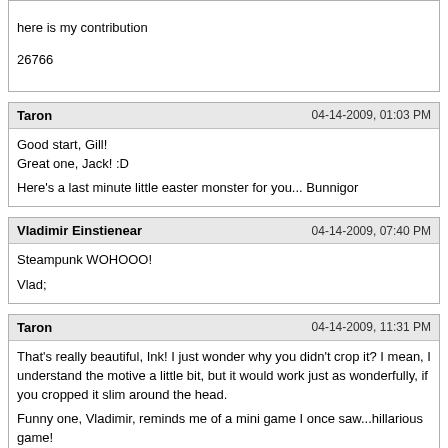here is my contribution
26766
Taron | 04-14-2009, 01:03 PM
Good start, Gill!
Great one, Jack! :D
Here's a last minute little easter monster for you... Bunnigor
Vladimir Einstienear | 04-14-2009, 07:40 PM
Steampunk WOHOOO!
Vlad;
Taron | 04-14-2009, 11:31 PM
That's really beautiful, Ink! I just wonder why you didn't crop it? I mean, I understand the motive a little bit, but it would work just as wonderfully, if you cropped it slim around the head.
Funny one, Vladimir, reminds me of a mini game I once saw...hillarious game!
http://www.experimentalgameplay.com/game.php?g=572
INKwithN | 04-15-2009, 06:30 AM
sorry didnt notice it was so big...thats what beer and a wacom do!i resized it.*edited for Taron lol
Random Alien Face
http://i37.photobucket.com/albums/e93/INKwithIN/AlienFace2.jpg